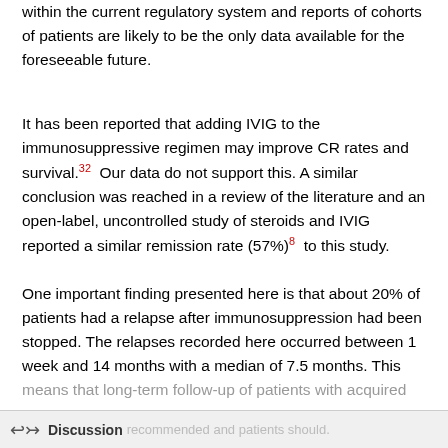within the current regulatory system and reports of cohorts of patients are likely to be the only data available for the foreseeable future.
It has been reported that adding IVIG to the immunosuppressive regimen may improve CR rates and survival.32 Our data do not support this. A similar conclusion was reached in a review of the literature and an open-label, uncontrolled study of steroids and IVIG reported a similar remission rate (57%)8 to this study.
One important finding presented here is that about 20% of patients had a relapse after immunosuppression had been stopped. The relapses recorded here occurred between 1 week and 14 months with a median of 7.5 months. This means that long-term follow-up of patients with acquired
Discussion recommended and patients should.